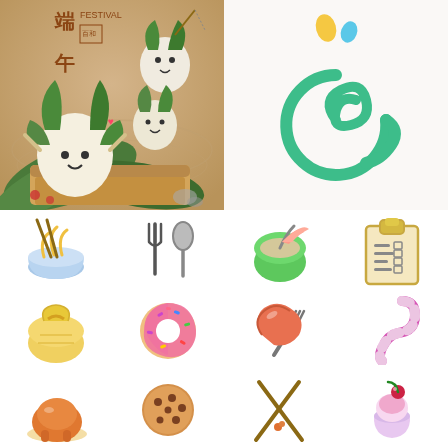[Figure (illustration): Dragon Boat Festival illustration with cute rice dumpling characters on a warm brown background with Chinese characters]
[Figure (logo): Green at-symbol style logo with yellow and blue droplets above it on light background]
[Figure (illustration): Grid of food and dining icons: noodle bowl, fork and spoon, coconut drink, clipboard/menu, dumpling bag, donut, sausage on fork, candy cane, roast chicken, cookie, chopsticks, cherry dessert]